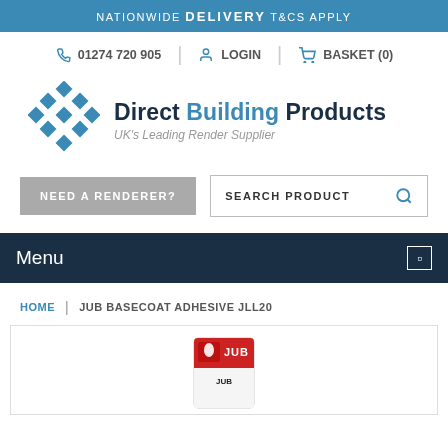NATIONWIDE DELIVERY T&CS APPLY
01274 720 905 | LOGIN | BASKET (0)
[Figure (logo): Direct Building Products logo with blue diamond pattern and text 'Direct Building Products - UK's Leading Render Supplier']
NEED A RENDERER? | SEARCH PRODUCT
Menu
HOME | JUB BASECOAT ADHESIVE JLL20
[Figure (photo): JUB product packaging - Basecoat Adhesive JLL20 bag/container]